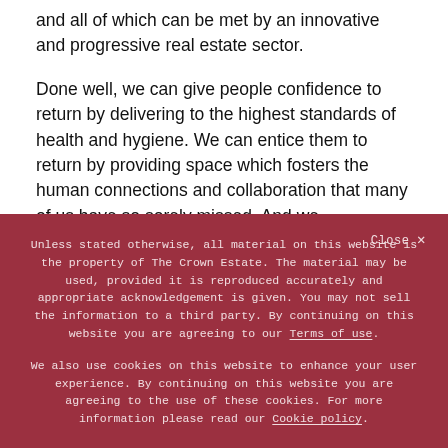and all of which can be met by an innovative and progressive real estate sector.
Done well, we can give people confidence to return by delivering to the highest standards of health and hygiene. We can entice them to return by providing space which fosters the human connections and collaboration that many of us have so sorely missed. And we...
Unless stated otherwise, all material on this website is the property of The Crown Estate. The material may be used, provided it is reproduced accurately and appropriate acknowledgement is given. You may not sell the information to a third party. By continuing on this website you are agreeing to our Terms of use.
We also use cookies on this website to enhance your user experience. By continuing on this website you are agreeing to the use of these cookies. For more information please read our Cookie policy.